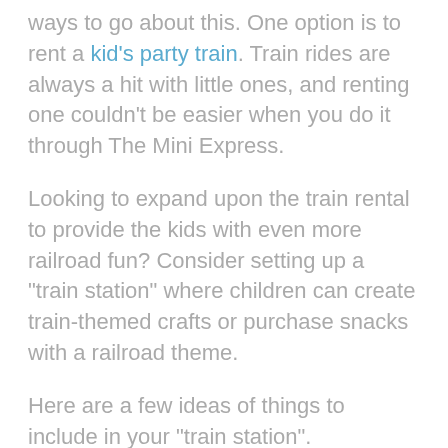ways to go about this. One option is to rent a kid's party train. Train rides are always a hit with little ones, and renting one couldn't be easier when you do it through The Mini Express.
Looking to expand upon the train rental to provide the kids with even more railroad fun? Consider setting up a "train station" where children can create train-themed crafts or purchase snacks with a railroad theme.
Here are a few ideas of things to include in your "train station".
Train Cookies